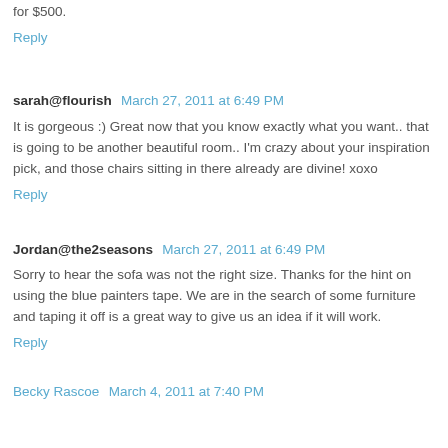for $500.
Reply
sarah@flourish  March 27, 2011 at 6:49 PM
It is gorgeous :) Great now that you know exactly what you want.. that is going to be another beautiful room.. I'm crazy about your inspiration pick, and those chairs sitting in there already are divine! xoxo
Reply
Jordan@the2seasons  March 27, 2011 at 6:49 PM
Sorry to hear the sofa was not the right size. Thanks for the hint on using the blue painters tape. We are in the search of some furniture and taping it off is a great way to give us an idea if it will work.
Reply
Becky Rascoe  March 4, 2011 at 7:40 PM